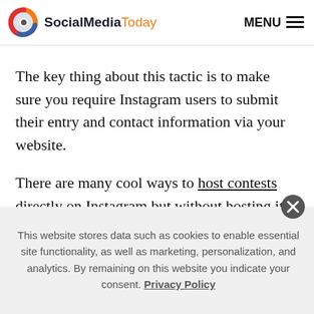SocialMediaToday  MENU
The key thing about this tactic is to make sure you require Instagram users to submit their entry and contact information via your website.
There are many cool ways to host contests directly on Instagram but without hosting it on your website, you won't drive any traffic back to your site, and could therefore miss out on generating leads and
This website stores data such as cookies to enable essential site functionality, as well as marketing, personalization, and analytics. By remaining on this website you indicate your consent. Privacy Policy